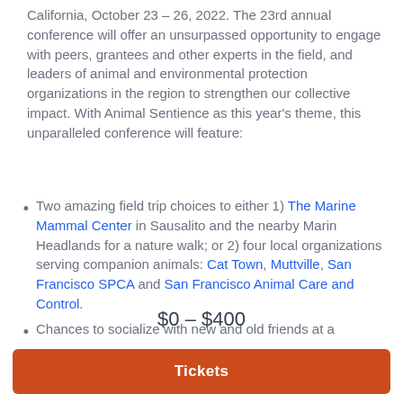California, October 23 – 26, 2022. The 23rd annual conference will offer an unsurpassed opportunity to engage with peers, grantees and other experts in the field, and leaders of animal and environmental protection organizations in the region to strengthen our collective impact. With Animal Sentience as this year's theme, this unparalleled conference will feature:
Two amazing field trip choices to either 1) The Marine Mammal Center in Sausalito and the nearby Marin Headlands for a nature walk; or 2) four local organizations serving companion animals: Cat Town, Muttville, San Francisco SPCA and San Francisco Animal Care and Control.
Chances to socialize with new and old friends at a
$0 – $400
Tickets